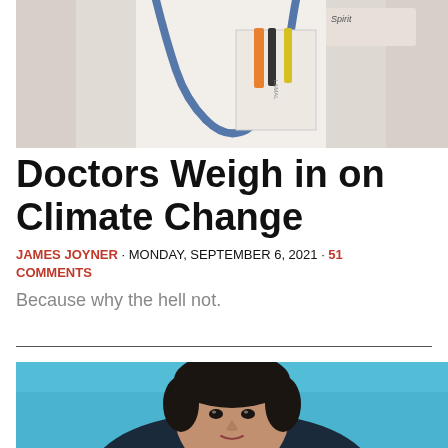[Figure (photo): Close-up photo of a doctor in a white lab coat with a stethoscope around the neck and medical tools (pens, instruments) in the breast pocket; Spirit brand label visible on stethoscope.]
Doctors Weigh in on Climate Change
JAMES JOYNER · MONDAY, SEPTEMBER 6, 2021 · 51 COMMENTS
Because why the hell not.
[Figure (photo): Portrait photo of a man with dark hair against a light blue background, looking at the camera.]